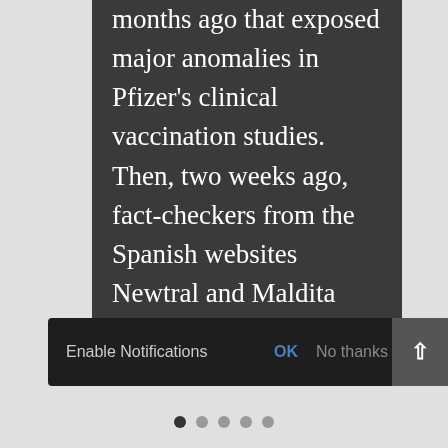months ago that exposed major anomalies in Pfizer's clinical vaccination studies. Then, two weeks ago, fact-checkers from the Spanish websites Newtral and Maldita stormed the public arena, accusing Joan Ramón Laporte, a professor of pharmacology, a known specialist in drug safety, and a...
Enable Notifications  OK  No thanks